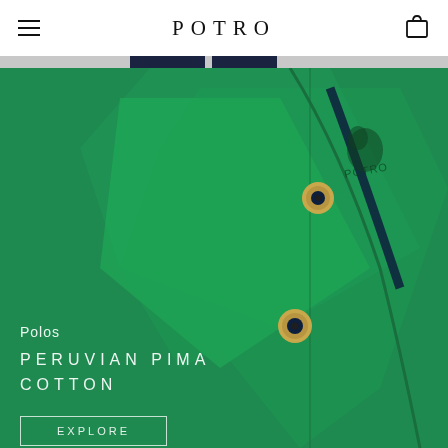POTRO
[Figure (photo): Close-up photograph of a green polo shirt with POTRO brand logo, showing collar, placket with two gold/navy buttons, and navy blue accent stripe. The shirt is Peruvian Pima Cotton.]
Polos
PERUVIAN PIMA COTTON
Explore